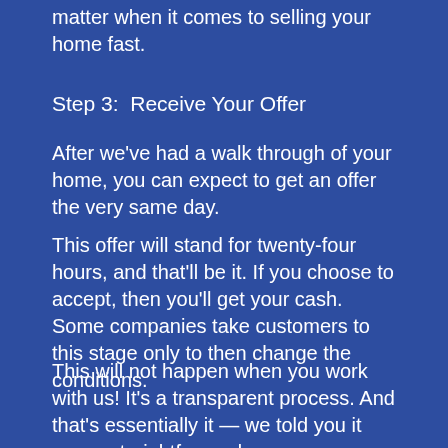matter when it comes to selling your home fast.
Step 3:  Receive Your Offer
After we've had a walk through of your home, you can expect to get an offer the very same day.
This offer will stand for twenty-four hours, and that'll be it. If you choose to accept, then you'll get your cash. Some companies take customers to this stage only to then change the conditions.
This will not happen when you work with us! It's a transparent process. And that's essentially it — we told you it was a straightforward process.